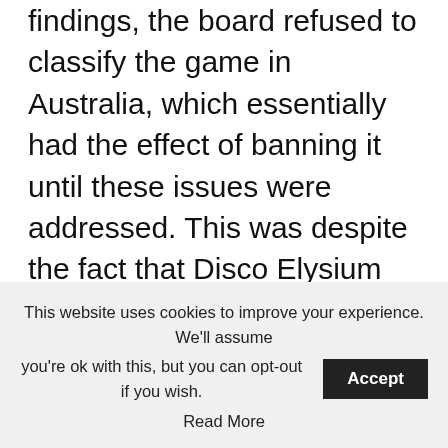findings, the board refused to classify the game in Australia, which essentially had the effect of banning it until these issues were addressed. This was despite the fact that Disco Elysium had been available on the Steam online games store since 2019 and had garnered a number of industry awards.
This refusal to classify the game adds Disco Elysium to a long list of games banned by the Australian classification board, which includes games such as Left 4 Dead 2, Fallout 3, Grand Theft Auto and many more.
This website uses cookies to improve your experience. We'll assume you're ok with this, but you can opt-out if you wish. Accept Read More